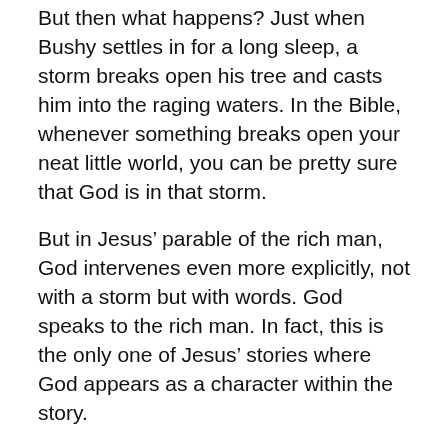But then what happens? Just when Bushy settles in for a long sleep, a storm breaks open his tree and casts him into the raging waters. In the Bible, whenever something breaks open your neat little world, you can be pretty sure that God is in that storm.
But in Jesus’ parable of the rich man, God intervenes even more explicitly, not with a storm but with words. God speaks to the rich man. In fact, this is the only one of Jesus’ stories where God appears as a character within the story.
And what does God say to the rich man? “Fool!” God says. “Fool!” Now that’s something to wake up your prayer life—to hear God calling you a fool.
Do you remember the most famous use of the word “fool” in the Bible? It’s in the first verse of Psalm 14: The fool